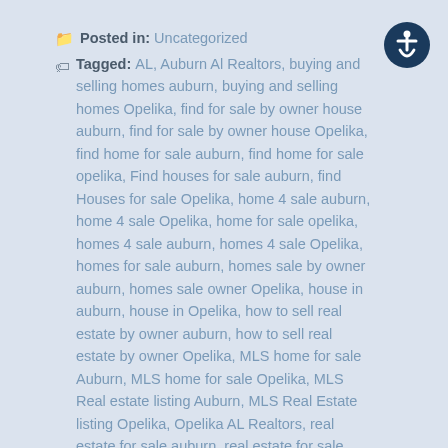Posted in: Uncategorized
Tagged: AL, Auburn Al Realtors, buying and selling homes auburn, buying and selling homes Opelika, find for sale by owner house auburn, find for sale by owner house Opelika, find home for sale auburn, find home for sale opelika, Find houses for sale auburn, find Houses for sale Opelika, home 4 sale auburn, home 4 sale Opelika, home for sale opelika, homes 4 sale auburn, homes 4 sale Opelika, homes for sale auburn, homes sale by owner auburn, homes sale owner Opelika, house in auburn, house in Opelika, how to sell real estate by owner auburn, how to sell real estate by owner Opelika, MLS home for sale Auburn, MLS home for sale Opelika, MLS Real estate listing Auburn, MLS Real Estate listing Opelika, Opelika AL Realtors, real estate for sale auburn, real estate for sale Opelika, real estate mls listings, realtor search auburn, realtor search Opelika, sale home auburn, sale home Opelika, search for homes for sale auburn, search for homes for sale Opelika, search homes, small houses for
[Figure (illustration): Accessibility icon button — circular dark blue button with white person/wheelchair accessibility symbol]